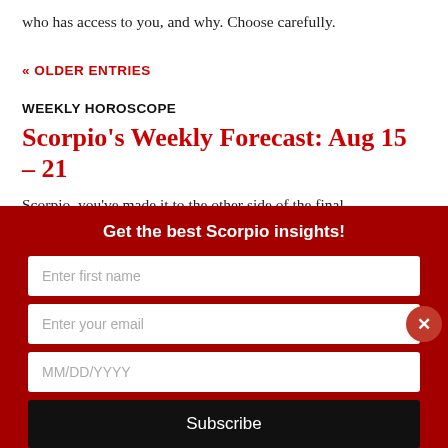who has access to you, and why. Choose carefully.
« OLDER ENTRIES
WEEKLY HOROSCOPE
Scorpio's Weekly Forecast: Aug 15 – 21
Scorpio, you've made it to the other side of the final
Get the best Scorpio insights!
Enter first name
Enter your email
MM/DD/YYYY
Subscribe